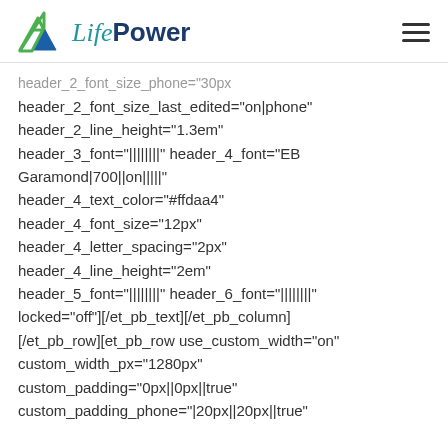LifePower (logo with navigation hamburger menu)
header_2_font_size_phone="30px" header_2_font_size_last_edited="on|phone" header_2_line_height="1.3em" header_3_font="||||||||" header_4_font="EB Garamond|700||on|||||" header_4_text_color="#ffdaa4" header_4_font_size="12px" header_4_letter_spacing="2px" header_4_line_height="2em" header_5_font="||||||||" header_6_font="||||||||" locked="off"][/et_pb_text][/et_pb_column] [/et_pb_row][et_pb_row use_custom_width="on" custom_width_px="1280px" custom_padding="0px||0px||true" custom_padding_phone="|20px||20px||true"